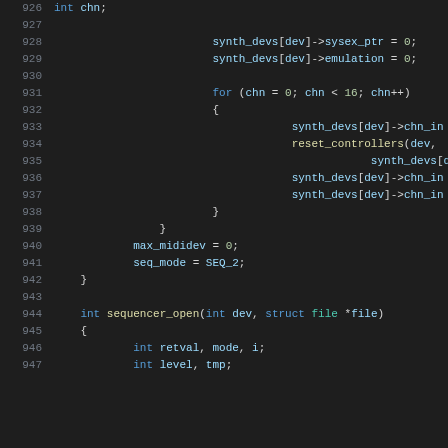Source code listing lines 926-947
926    int chn;
927
928        synth_devs[dev]->sysex_ptr = 0;
929        synth_devs[dev]->emulation = 0;
930
931        for (chn = 0; chn < 16; chn++)
932        {
933            synth_devs[dev]->chn_in
934            reset_controllers(dev,
935                    synth_devs[dev]
936            synth_devs[dev]->chn_in
937            synth_devs[dev]->chn_in
938        }
939    }
940        max_mididev = 0;
941        seq_mode = SEQ_2;
942    }
943
944    int sequencer_open(int dev, struct file *file)
945    {
946            int retval, mode, i;
947            int level, tmp;